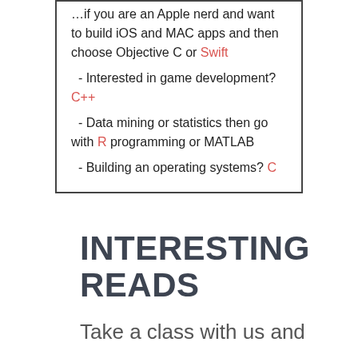If you are an Apple nerd and want to build iOS and MAC apps and then choose Objective C or Swift
- Interested in game development? C++
- Data mining or statistics then go with R programming or MATLAB
- Building an operating systems? C
INTERESTING READS
Take a class with us and